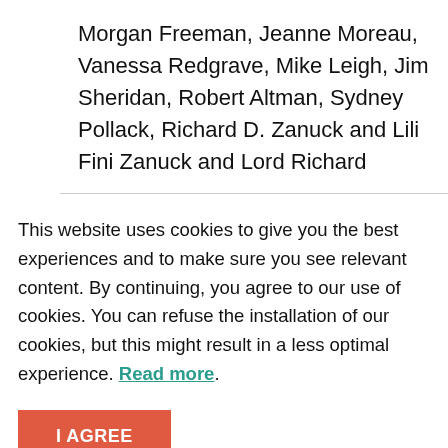Morgan Freeman, Jeanne Moreau, Vanessa Redgrave, Mike Leigh, Jim Sheridan, Robert Altman, Sydney Pollack, Richard D. Zanuck and Lili Fini Zanuck and Lord Richard
This website uses cookies to give you the best experiences and to make sure you see relevant content. By continuing, you agree to our use of cookies. You can refuse the installation of our cookies, but this might result in a less optimal experience. Read more.
I AGREE